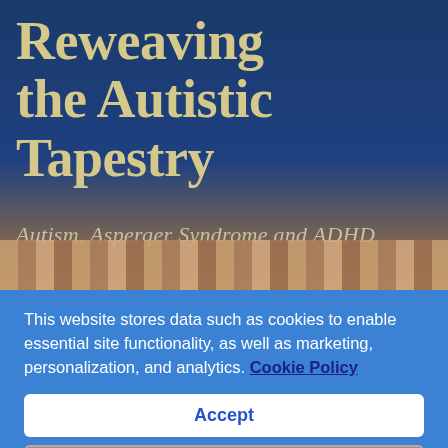[Figure (photo): Book cover of 'Reweaving the Autistic Tapestry' with subtitle 'Autism, Asperger Syndrome and ADHD' on a dark blue background with a woven texture bar at the bottom]
This website stores data such as cookies to enable essential site functionality, as well as marketing, personalization, and analytics. Cookie Policy
Accept
Deny